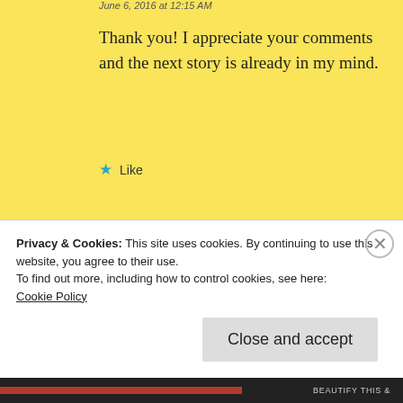June 6, 2016 at 12:15 AM
Thank you! I appreciate your comments and the next story is already in my mind.
★ Like
Reply
Evonne
Privacy & Cookies: This site uses cookies. By continuing to use this website, you agree to their use.
To find out more, including how to control cookies, see here:
Cookie Policy
Close and accept